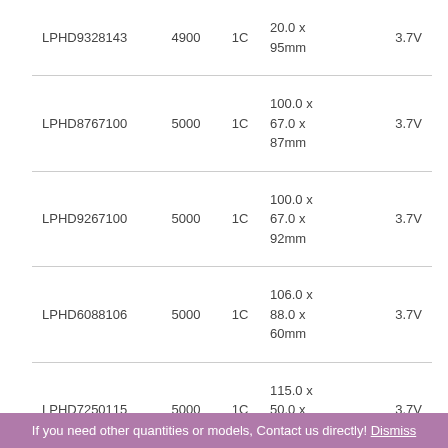| Part Number | Capacity (mAh) | Cell | Dimensions | Voltage |
| --- | --- | --- | --- | --- |
| LPHD9328143 | 4900 | 1C | 20.0 x 95mm | 3.7V |
| LPHD8767100 | 5000 | 1C | 100.0 x 67.0 x 87mm | 3.7V |
| LPHD9267100 | 5000 | 1C | 100.0 x 67.0 x 92mm | 3.7V |
| LPHD6088106 | 5000 | 1C | 106.0 x 88.0 x 60mm | 3.7V |
| LPHD7250115 | 5000 | 1C | 115.0 x 50.0 x 72mm | 3.7V |
| LPHD7063124 | 5000 | 1C | 124.0 x 63.0 x 70mm | 3.7V |
| LPHD8343128 | 5000 | 1C | 128.0 x 43.0 x 83mm | 3.7V |
If you need other quantities or models, Contact us directly! Dismiss